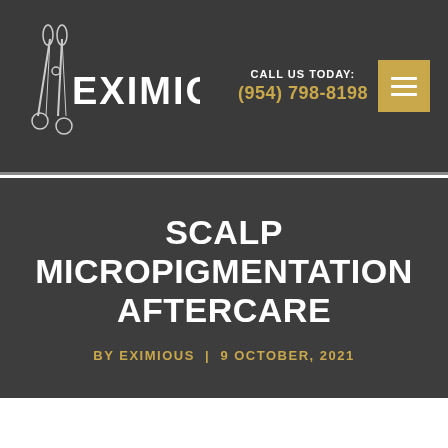EXIMIOUS | CALL US TODAY: (954) 798-8198
SCALP MICROPIGMENTATION AFTERCARE
BY EXIMIOUS  |  9 OCTOBER, 2021